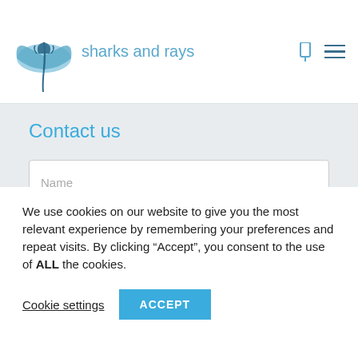sharks and rays
Contact us
Name
We use cookies on our website to give you the most relevant experience by remembering your preferences and repeat visits. By clicking “Accept”, you consent to the use of ALL the cookies.
Cookie settings
ACCEPT